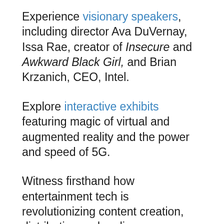Experience visionary speakers, including director Ava DuVernay, Issa Rae, creator of Insecure and Awkward Black Girl, and Brian Krzanich, CEO, Intel.
Explore interactive exhibits featuring magic of virtual and augmented reality and the power and speed of 5G.
Witness firsthand how entertainment tech is revolutionizing content creation, distribution and audience experiences.
“AT&T SHAPE will again unite developers, creators and media makers in a rare opportunity to encounter the convergence of tech and entertainment in a hands-on experience,” said